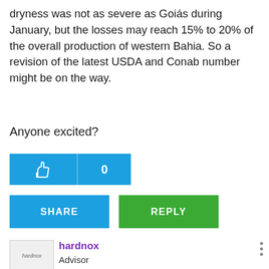dryness was not as severe as Goiás during January, but the losses may reach 15% to 20% of the overall production of western Bahia. So a revision of the latest USDA and Conab number might be on the way.
Anyone excited?
[Figure (screenshot): Like button with thumbs-up icon and count of 0]
[Figure (screenshot): SHARE button (blue) and REPLY button (green)]
[Figure (screenshot): User avatar placeholder for hardnox]
hardnox
Advisor
01-28-2015 08:24 AM
Re:
Hey l
[Figure (screenshot): MAXAM Agricultural Series advertisement banner with tractor tire image]